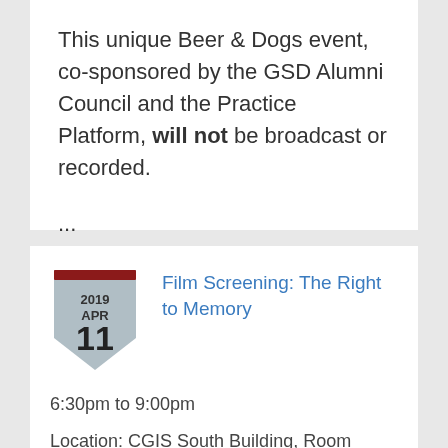This unique Beer & Dogs event, co-sponsored by the GSD Alumni Council and the Practice Platform, will not be broadcast or recorded.

...
[Figure (illustration): Calendar badge showing 2019 APR 11 in a shield/pentagon shape with a dark red top bar]
Film Screening: The Right to Memory
6:30pm to 9:00pm
Location: CGIS South Building, Room S010 (Tsai Auditorium), 1730 Cambridge St., Cambridge